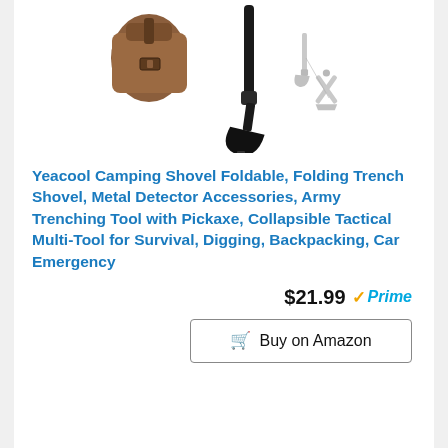[Figure (photo): Product image of a foldable camping shovel with leather case, shown assembled and in folded configurations. Black metal shovel with brown leather pouch, plus gray schematic views of folded positions.]
Yeacool Camping Shovel Foldable, Folding Trench Shovel, Metal Detector Accessories, Army Trenching Tool with Pickaxe, Collapsible Tactical Multi-Tool for Survival, Digging, Backpacking, Car Emergency
$21.99 Prime
Buy on Amazon